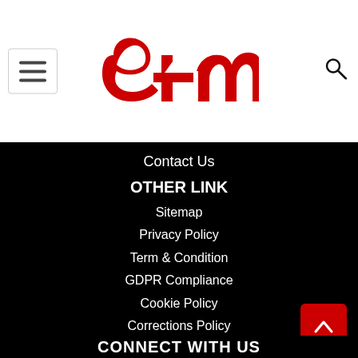[Figure (logo): e4m logo in red on white background with hamburger menu icon on left and search icon on right]
Contact Us
OTHER LINK
Sitemap
Privacy Policy
Term & Condition
GDPR Compliance
Cookie Policy
Corrections Policy
Ethics Policy
Fact Checking Policy
Ownership Info
CONNECT WITH US